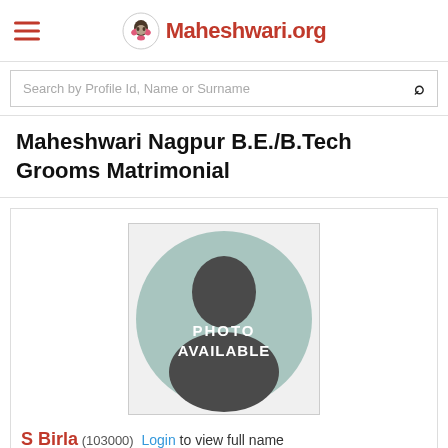Maheshwari.org
Search by Profile Id, Name or Surname
Maheshwari Nagpur B.E./B.Tech Grooms Matrimonial
[Figure (illustration): Placeholder profile photo with silhouette of a person and text 'PHOTO AVAILABLE' on a light teal circle background]
S Birla (103000) Login to view full name